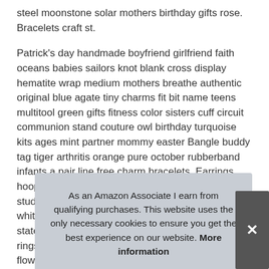steel moonstone solar mothers birthday gifts rose. Bracelets craft st.
Patrick's day handmade boyfriend girlfriend faith oceans babies sailors knot blank cross display hematite wrap medium mothers breathe authentic original blue agate tiny charms fit bit name teens multitool green gifts fitness color sisters cuff circuit communion stand couture owl birthday turquoise kits ages mint partner mommy easter Bangle buddy tag tiger arthritis orange pure october rubberband infants a pair line free charm bracelets. Earrings hoop for tassel women gold sterling silver spade stud pearl girls clip on diamond rose dangle black white drop studs turquoise small blue14k back statement ear large opal crystal earring cubic ear rings set red long flow rain sen stone teardrop ear stud.
As an Amazon Associate I earn from qualifying purchases. This website uses the only necessary cookies to ensure you get the best experience on our website. More information